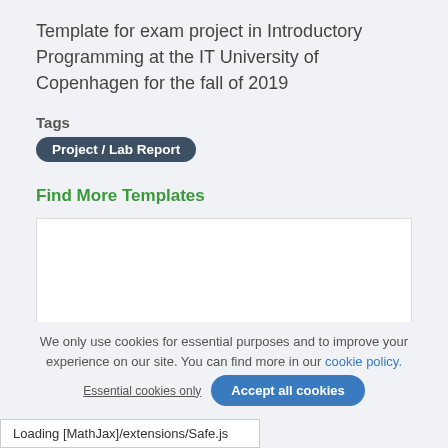Template for exam project in Introductory Programming at the IT University of Copenhagen for the fall of 2019
Tags
Project / Lab Report
Find More Templates
[Figure (screenshot): Preview image of a document titled 'Project: Search Engine']
Project: Search Engine
We only use cookies for essential purposes and to improve your experience on our site. You can find out more in our cookie policy.
Essential cookies only    Accept all cookies
Loading [MathJax]/extensions/Safe.js